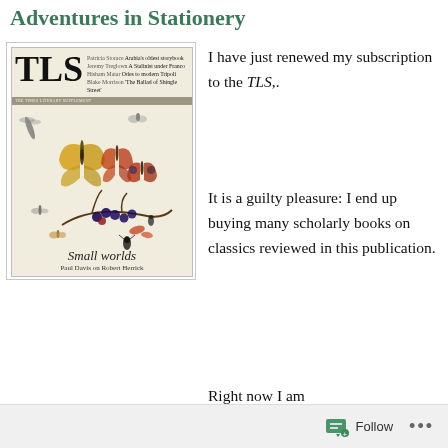Adventures in Stationery
[Figure (photo): TLS (Times Literary Supplement) magazine cover showing 'Small worlds' with illustration of butterflies, insects, and berries. Cover features headings: Patricia Storace Arabia's oldest storybook, Jeremy Treglown A Stalinist under Franco, Hisham Matar Odes to modern Tripoli, Blake Morrison 'The Ballad of Shingle Street'. Caption at bottom: Small worlds, Paul Davis on Robert Herrick.]
I have just renewed my subscription to the TLS,.
It is a guilty pleasure: I end up buying many scholarly books on classics reviewed in this publication.
Right now I am